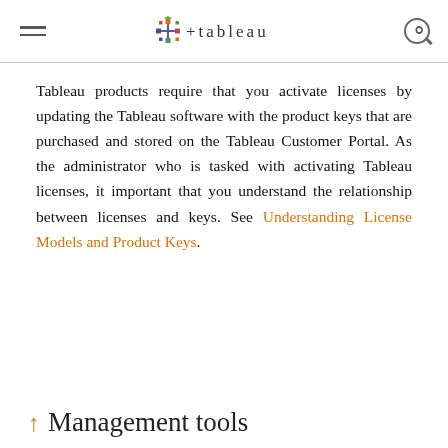Tableau logo navigation header with hamburger menu and search icon
Tableau products require that you activate licenses by updating the Tableau software with the product keys that are purchased and stored on the Tableau Customer Portal. As the administrator who is tasked with activating Tableau licenses, it important that you understand the relationship between licenses and keys. See Understanding License Models and Product Keys.
↑ Management tools